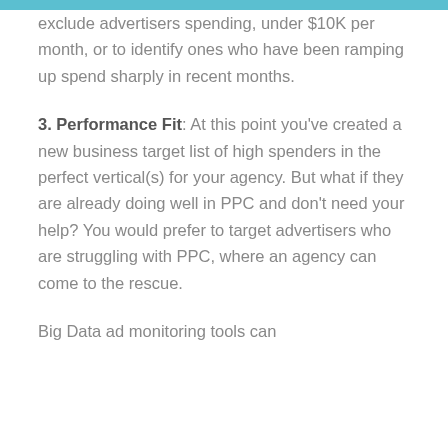…and use this data to exclude advertisers spending under $10K per month, or to identify ones who have been ramping up spend sharply in recent months.
3. Performance Fit: At this point you've created a new business target list of high spenders in the perfect vertical(s) for your agency. But what if they are already doing well in PPC and don't need your help? You would prefer to target advertisers who are struggling with PPC, where an agency can come to the rescue.
Big Data ad monitoring tools can